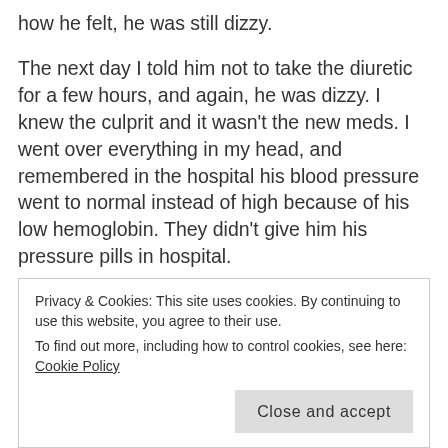how he felt, he was still dizzy.
The next day I told him not to take the diuretic for a few hours, and again, he was dizzy. I knew the culprit and it wasn't the new meds. I went over everything in my head, and remembered in the hospital his blood pressure went to normal instead of high because of his low hemoglobin. They didn't give him his pressure pills in hospital.
I had an inkling that he came home and began taking his pressure pills, these were bringing his pressure to low, hence, the dizziness. The next day I stopped his pressure
Privacy & Cookies: This site uses cookies. By continuing to use this website, you agree to their use.
To find out more, including how to control cookies, see here: Cookie Policy
least next check up when he'd check the blood work to